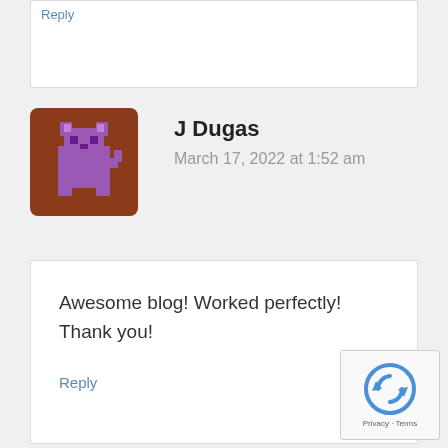Reply
J Dugas
March 17, 2022 at 1:52 am
Awesome blog! Worked perfectly! Thank you!
Reply
[Figure (other): reCAPTCHA badge with spinning arrows icon and Privacy - Terms links]